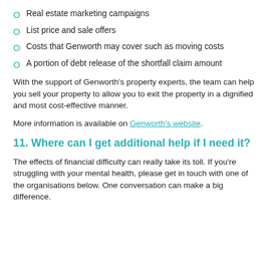Real estate marketing campaigns
List price and sale offers
Costs that Genworth may cover such as moving costs
A portion of debt release of the shortfall claim amount
With the support of Genworth’s property experts, the team can help you sell your property to allow you to exit the property in a dignified and most cost-effective manner.
More information is available on Genworth’s website.
11. Where can I get additional help if I need it?
The effects of financial difficulty can really take its toll. If you’re struggling with your mental health, please get in touch with one of the organisations below. One conversation can make a big difference.